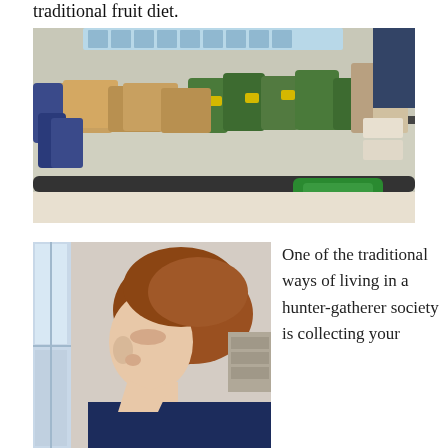traditional fruit diet.
[Figure (photo): A grocery store checkout conveyor belt loaded with various packaged food items including bread, green banana-leaf wrapped parcels, snack packages, and other food products.]
[Figure (photo): A person with short reddish-brown hair wearing a dark blue shirt, photographed from the side, appearing to look downward inside what seems to be a home interior.]
One of the traditional ways of living in a hunter-gatherer society is collecting your